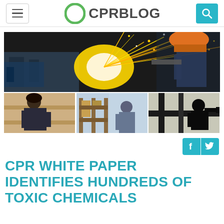CPR BLOG
[Figure (photo): Composite image showing industrial workers: top row shows a worker in an orange hard hat grinding metal with bright sparks flying; bottom row shows three smaller photos of a woman working, a warehouse worker, and a silhouette of a worker with a drill]
[Figure (other): Social media icons: Facebook and Twitter buttons in teal/cyan color]
CPR WHITE PAPER IDENTIFIES HUNDREDS OF TOXIC CHEMICALS